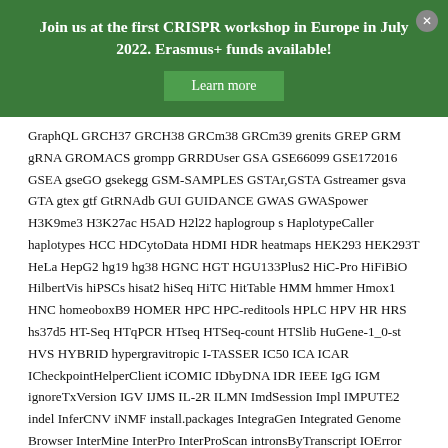Join us at the first CRISPR workshop in Europe in July 2022. Erasmus+ funds available!
Learn more
GraphQL GRCH37 GRCH38 GRCm38 GRCm39 grenits GREP GRM gRNA GROMACS grompp GRRDUser GSA GSE66099 GSE172016 GSEA gseGO gsekegg GSM-SAMPLES GSTAr,GSTA Gstreamer gsva GTA gtex gtf GtRNAdb GUI GUIDANCE GWAS GWASpower H3K9me3 H3K27ac H5AD H2l22 haplogroup s HaplotypeCaller haplotypes HCC HDCytoData HDMI HDR heatmaps HEK293 HEK293T HeLa HepG2 hg19 hg38 HGNC HGT HGU133Plus2 HiC-Pro HiFiBiO HilbertVis hiPSCs hisat2 hiSeq HiTC HitTable HMM hmmer Hmox1 HNC homeoboxB9 HOMER HPC HPC-reditools HPLC HPV HR HRS hs37d5 HT-Seq HTqPCR HTseq HTSeq-count HTSlib HuGene-1_0-st HVS HYBRID hypergravitropic I-TASSER IC50 ICA ICAR ICheckpointHelperClient iCOMIC IDbyDNA IDR IEEE IgG IGM ignoreTxVersion IGV IJMS IL-2R ILMN ImdSession Impl IMPUTE2 indel InferCNV iNMF install.packages IntegraGen Integrated Genome Browser InterMine InterPro InterProScan intronsByTranscript IOError ION torrent IP-MS ipdsummary iPSC iPSCs ischemia-reperfusion ISD iseq iso-seq iTCh JASPAR Java javascript jbrowse jobRxiv Jquery json JSON Schema